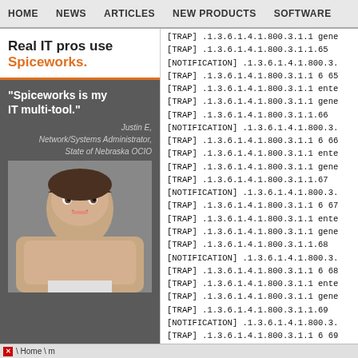HOME   NEWS   ARTICLES   NEW PRODUCTS   SOFTWARE
[Figure (screenshot): Spiceworks advertisement with 'Real IT pros use Spiceworks.' headline and a quote from Justin E, Network/Systems Administrator, State of Nebraska OCIO, with a photo of a man smiling]
[TRAP] .1.3.6.1.4.1.800.3.1.1 gene
[TRAP] .1.3.6.1.4.1.800.3.1.1.65
[NOTIFICATION] .1.3.6.1.4.1.800.3.
[TRAP] .1.3.6.1.4.1.800.3.1.1 6 65
[TRAP] .1.3.6.1.4.1.800.3.1.1 ente
[TRAP] .1.3.6.1.4.1.800.3.1.1 gene
[TRAP] .1.3.6.1.4.1.800.3.1.1.66
[NOTIFICATION] .1.3.6.1.4.1.800.3.
[TRAP] .1.3.6.1.4.1.800.3.1.1 6 66
[TRAP] .1.3.6.1.4.1.800.3.1.1 ente
[TRAP] .1.3.6.1.4.1.800.3.1.1 gene
[TRAP] .1.3.6.1.4.1.800.3.1.1.67
[NOTIFICATION] .1.3.6.1.4.1.800.3.
[TRAP] .1.3.6.1.4.1.800.3.1.1 6 67
[TRAP] .1.3.6.1.4.1.800.3.1.1 ente
[TRAP] .1.3.6.1.4.1.800.3.1.1 gene
[TRAP] .1.3.6.1.4.1.800.3.1.1.68
[NOTIFICATION] .1.3.6.1.4.1.800.3.
[TRAP] .1.3.6.1.4.1.800.3.1.1 6 68
[TRAP] .1.3.6.1.4.1.800.3.1.1 ente
[TRAP] .1.3.6.1.4.1.800.3.1.1 gene
[TRAP] .1.3.6.1.4.1.800.3.1.1.69
[NOTIFICATION] .1.3.6.1.4.1.800.3.
[TRAP] .1.3.6.1.4.1.800.3.1.1 6 69
[TRAP] .1.3.6.1.4.1.800.3.1.1 ente
Home \ m